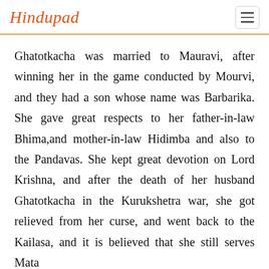Hindupad
Ghatotkacha was married to Mauravi, after winning her in the game conducted by Mourvi, and they had a son whose name was Barbarika. She gave great respects to her father-in-law Bhima,and mother-in-law Hidimba and also to the Pandavas. She kept great devotion on Lord Krishna, and after the death of her husband Ghatotkacha in the Kurukshetra war, she got relieved from her curse, and went back to the Kailasa, and it is believed that she still serves Mata